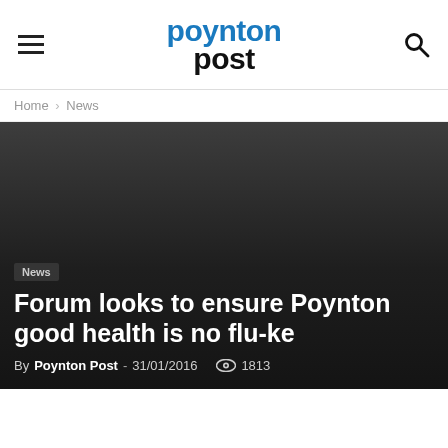poynton post
Home › News
[Figure (photo): Dark grey/black background hero image area for news article]
News
Forum looks to ensure Poynton good health is no flu-ke
By Poynton Post - 31/01/2016  1813